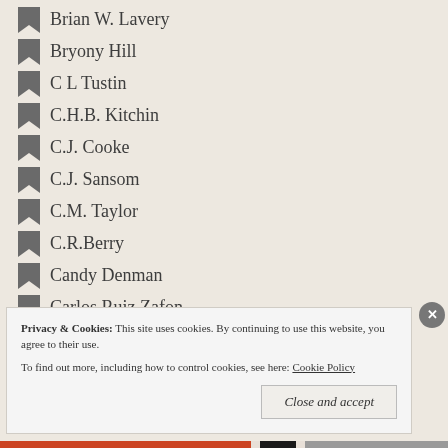Brian W. Lavery
Bryony Hill
C L Tustin
C.H.B. Kitchin
C.J. Cooke
C.J. Sansom
C.M. Taylor
C.R.Berry
Candy Denman
Carlos Ruiz Zafon
Carmel Harrington
Carol Carnac
Carol Drinkwater
Privacy & Cookies: This site uses cookies. By continuing to use this website, you agree to their use. To find out more, including how to control cookies, see here: Cookie Policy
Close and accept